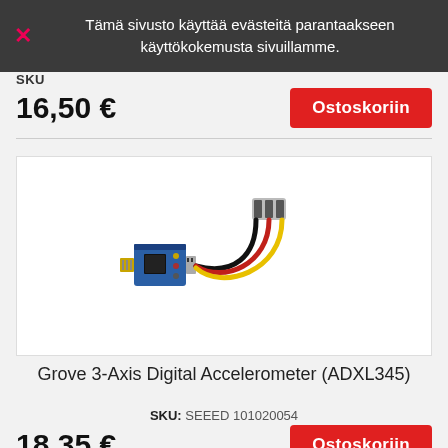Tämä sivusto käyttää evästeitä parantaakseen käyttökokemusta sivuillamme.
SKU
16,50 €
Ostoskoriin
[Figure (photo): Grove 3-Axis Digital Accelerometer (ADXL345) module board with a 4-wire Grove cable.]
Grove 3-Axis Digital Accelerometer (ADXL345)
SKU: SEEED 101020054
18,35 €
Ostoskoriin